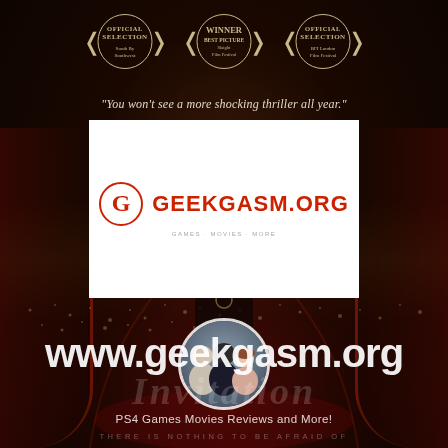[Figure (other): Movie promotional image / website screenshot for The Invitation film. Dark cinematic background with wine glass silhouette. Three film festival award laurels at top (Official Selection South by Southwest, Winner Best Picture Slaight Film Festival, Official Selection BFI London Film Festival). White overlay box with Geekgasm.org logo (red G in circle). Circular profile photo of three people including person in Batman costume. Large URL text and website tagline at bottom.]
"You won't see a more shocking thriller all year."
www.geekgasm.org
PS4 Games Movies Reviews and More!
Invitation
THERE IS NOTHING TO BE AFRAID OF